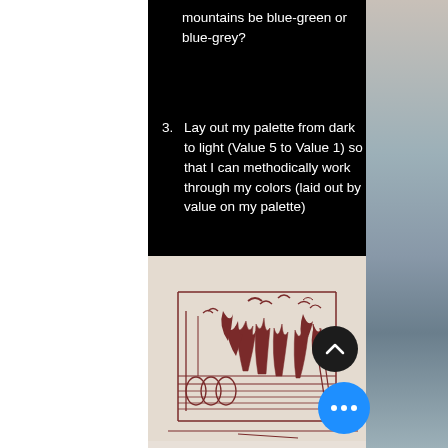mountains be blue-green or blue-grey?
3. Lay out my palette from dark to light (Value 5 to Value 1) so that I can methodically work through my colors (laid out by value on my palette)
[Figure (illustration): Hand-drawn sketch in dark reddish-brown ink on light paper showing a landscape scene with trees, birds in flight, horizontal lines suggesting water or ground, and rectangular shapes suggesting buildings or structures on the left. A black circular up-arrow button and a blue circular more-options (three dots) button overlay the sketch.]